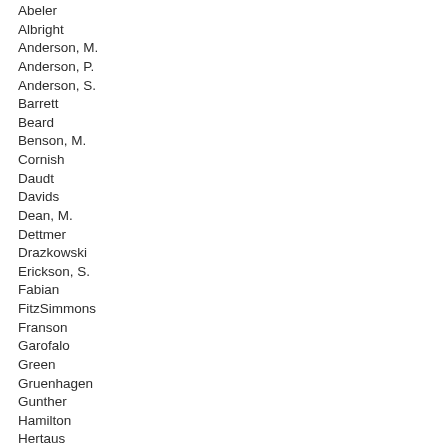Abeler
Albright
Anderson, M.
Anderson, P.
Anderson, S.
Barrett
Beard
Benson, M.
Cornish
Daudt
Davids
Dean, M.
Dettmer
Drazkowski
Erickson, S.
Fabian
FitzSimmons
Franson
Garofalo
Green
Gruenhagen
Gunther
Hamilton
Hertaus
Holberg
Hoppe
Howe
Johnson, B.
Kelly
Kieffer
Kiel
Kresha
Leidiger
Lohmer
Loon
Mack
McDonald
McNamara
Myhra
Newberger